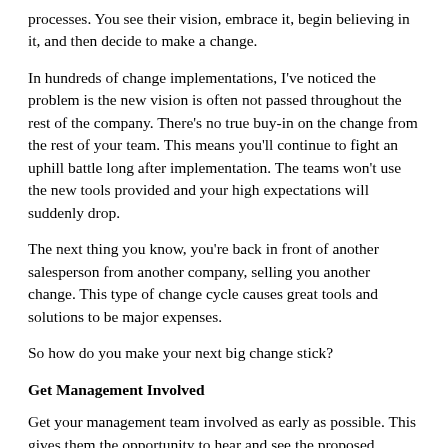processes. You see their vision, embrace it, begin believing in it, and then decide to make a change.
In hundreds of change implementations, I've noticed the problem is the new vision is often not passed throughout the rest of the company. There's no true buy-in on the change from the rest of your team. This means you'll continue to fight an uphill battle long after implementation. The teams won't use the new tools provided and your high expectations will suddenly drop.
The next thing you know, you're back in front of another salesperson from another company, selling you another change. This type of change cycle causes great tools and solutions to be major expenses.
So how do you make your next big change stick?
Get Management Involved
Get your management team involved as early as possible. This gives them the opportunity to hear and see the proposed changes. They can ask questions and start building out their plan of how this change could work for them. When management is on board, they will help make change a reality throughout the rest of your store.